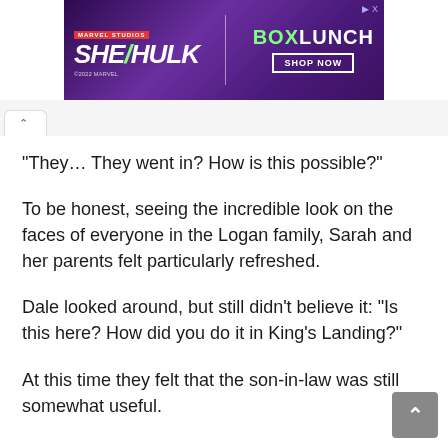[Figure (screenshot): Advertisement banner for She-Hulk Marvel Studios / BoxLunch Shop Now]
“They… They went in? How is this possible?”
To be honest, seeing the incredible look on the faces of everyone in the Logan family, Sarah and her parents felt particularly refreshed.
Dale looked around, but still didn’t believe it: “Is this here? How did you do it in King’s Landing?”
At this time they felt that the son-in-law was still somewhat useful.